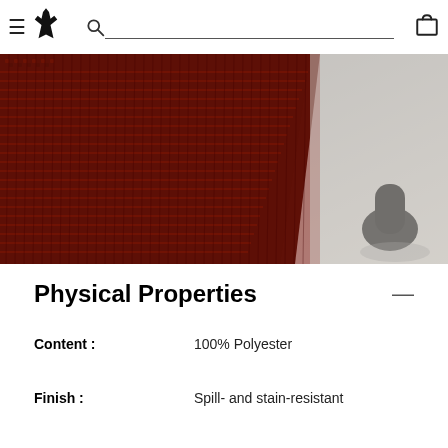Navigation header with hamburger menu, wolf logo, search bar, and cart icon
[Figure (photo): Close-up photo of red and black woven fabric texture (chair upholstery) with a black leg/foot detail visible on a light gray surface]
Physical Properties
Content : 100% Polyester
Finish : Spill- and stain-resistant